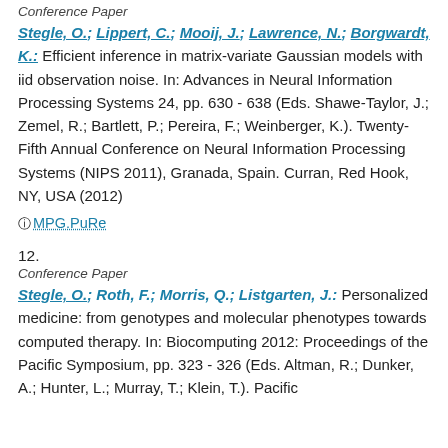Conference Paper
Stegle, O.; Lippert, C.; Mooij, J.; Lawrence, N.; Borgwardt, K.: Efficient inference in matrix-variate Gaussian models with iid observation noise. In: Advances in Neural Information Processing Systems 24, pp. 630 - 638 (Eds. Shawe-Taylor, J.; Zemel, R.; Bartlett, P.; Pereira, F.; Weinberger, K.). Twenty-Fifth Annual Conference on Neural Information Processing Systems (NIPS 2011), Granada, Spain. Curran, Red Hook, NY, USA (2012)
MPG.PuRe
12.
Conference Paper
Stegle, O.; Roth, F.; Morris, Q.; Listgarten, J.: Personalized medicine: from genotypes and molecular phenotypes towards computed therapy. In: Biocomputing 2012: Proceedings of the Pacific Symposium, pp. 323 - 326 (Eds. Altman, R.; Dunker, A.; Hunter, L.; Murray, T.; Klein, T.). Pacific